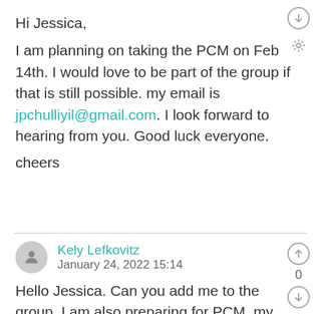Hi Jessica,
I am planning on taking the PCM on Feb 14th. I would love to be part of the group if that is still possible. my email is jpchulliyil@gmail.com. I look forward to hearing from you. Good luck everyone.
cheers
Kely Lefkovitz
January 24, 2022 15:14
Hello Jessica. Can you add me to the group. I am also preparing for PCM, my email is kely_katia@yahoo.com